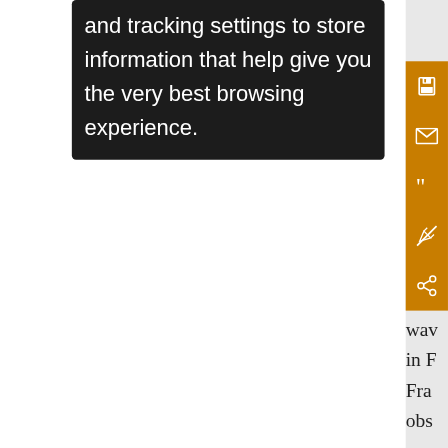and tracking settings to store information that help give you the very best browsing experience.
[Figure (screenshot): Orange vertical sidebar with white icons: save/disk, envelope, quotation marks, pen/edit crossed out, share/network icons]
wav in F Fra obs are